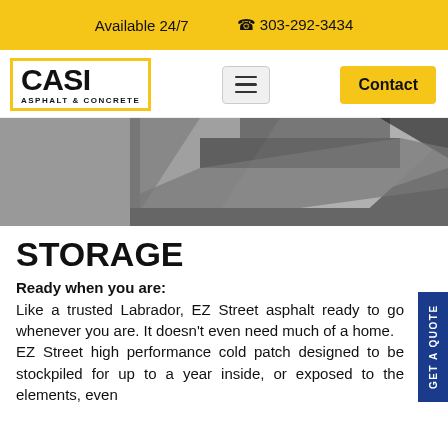Available 24/7   303-292-3434
[Figure (logo): CASI Asphalt & Concrete logo with yellow border, bold black text]
[Figure (photo): Close-up photo of asphalt/concrete surface being worked on, grayscale tones with dark asphalt and lighter concrete]
STORAGE
Ready when you are: Like a trusted Labrador, EZ Street asphalt ready to go whenever you are. It doesn't even need much of a home. EZ Street high performance cold patch designed to be stockpiled for up to a year inside, or exposed to the elements, even